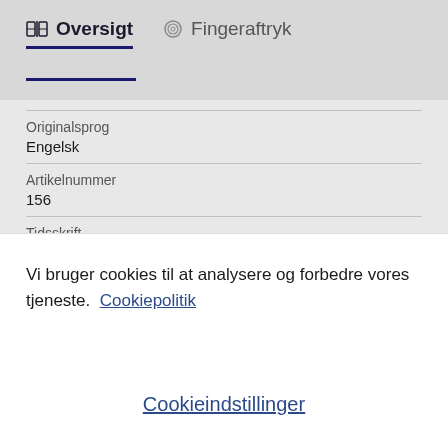Oversigt   Fingeraftryk
| Originalsprog | Engelsk |
| Artikelnummer | 156 |
| Tidsskrift | Frontiers in Cardiovascular Medicine |
Vi bruger cookies til at analysere og forbedre vores tjeneste.  Cookiepolitik
Cookieindstillinger